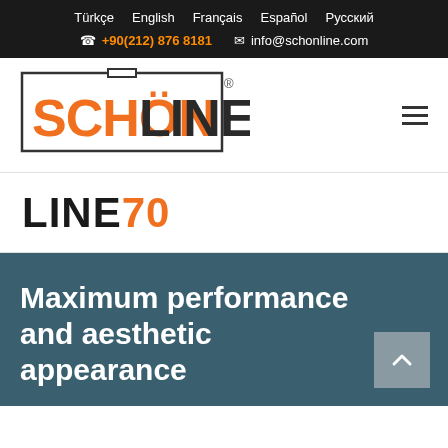Türkçe  English  Français  Español  Русский  +90(212) 876 8181  info@schonline.com
[Figure (logo): SCHÖNLINE logo — SCHÖN in orange bold letters, LINE in dark/black bold letters, inside a rectangular border bracket, with registered trademark symbol]
LINE70
Maximum performance and aesthetic appearance